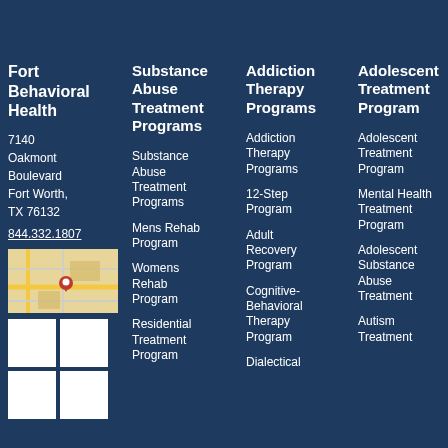Fort Behavioral Health
7140 Oakmont Boulevard Fort Worth, TX 76132
844.332.1807
[Figure (map): Map showing location of Fort Behavioral Health]
[Figure (other): Social media icon grid (4 white boxes)]
Substance Abuse Treatment Programs
Substance Abuse Treatment Programs
Mens Rehab Program
Womens Rehab Program
Residential Treatment Program
Addiction Therapy Programs
Addiction Therapy Programs
12-Step Program
Adult Recovery Program
Cognitive-Behavioral Therapy Program
Dialectical
Adolescent Treatment Program
Adolescent Treatment Program
Mental Health Treatment Program
Adolescent Substance Abuse Treatment
Autism Treatment